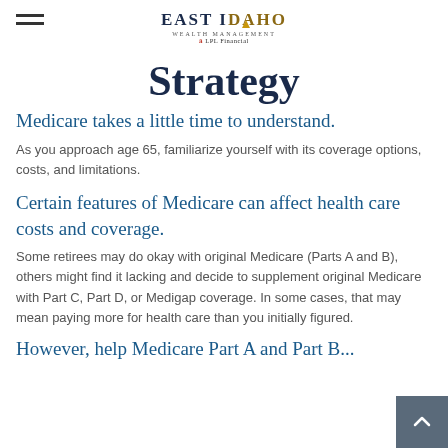East Idaho Wealth Management | LPL Financial
Strategy
Medicare takes a little time to understand.
As you approach age 65, familiarize yourself with its coverage options, costs, and limitations.
Certain features of Medicare can affect health care costs and coverage.
Some retirees may do okay with original Medicare (Parts A and B), others might find it lacking and decide to supplement original Medicare with Part C, Part D, or Medigap coverage. In some cases, that may mean paying more for health care than you initially figured.
However, help Medicare Part A and Part B...